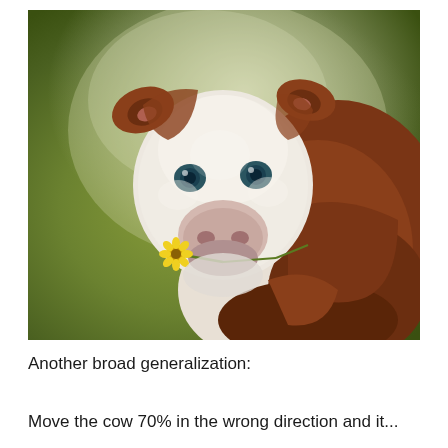[Figure (illustration): Oil painting of a young Hereford calf with white face and brown markings, looking directly at viewer, holding a yellow flower (dandelion or daisy) in its mouth. Background is soft olive green. Painted in a realistic classical style.]
Another broad generalization:
Move the cow 70% in the wrong direction and it...